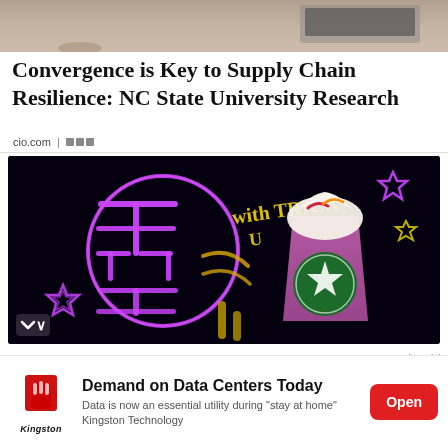[Figure (photo): Top partial photo showing a desk/workspace scene with a laptop and coffee cup, cropped at top]
Convergence is Key to Supply Chain Resilience: NC State University Research
cio.com | [share icon]
[Figure (photo): Starbucks advertisement with dark neon-themed background featuring Chinese/Japanese characters in pink neon lights, a Starbucks Frappuccino drink with colorful toppings, text reading 'with TRICK', neon star decorations, and a chevron/down arrow button in bottom left corner]
[Figure (photo): Kingston Technology advertisement banner: Kingston logo (red fist/torch icon) on left, headline 'Demand on Data Centers Today', subtitle 'Data is now an essential utility during "stay at home" Kingston Technology', red Open button on right. Ad label triangle and X in top right.]